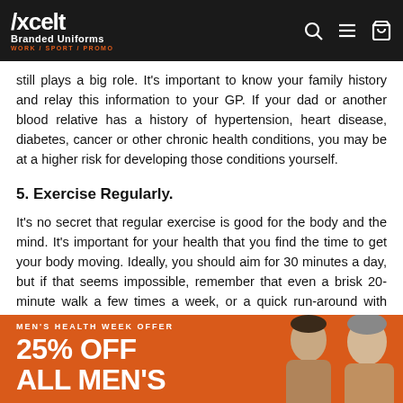Aceit Branded Uniforms WORK / SPORT / PROMO
still plays a big role. It's important to know your family history and relay this information to your GP. If your dad or another blood relative has a history of hypertension, heart disease, diabetes, cancer or other chronic health conditions, you may be at a higher risk for developing those conditions yourself.
5. Exercise Regularly.
It's no secret that regular exercise is good for the body and the mind. It's important for your health that you find the time to get your body moving. Ideally, you should aim for 30 minutes a day, but if that seems impossible, remember that even a brisk 20-minute walk a few times a week, or a quick run-around with some mates or the kids, can really help to improve your physical and mental health.
[Figure (photo): Men's Health Week Offer banner: orange background with text '25% OFF ALL MEN'S' and photos of two men]